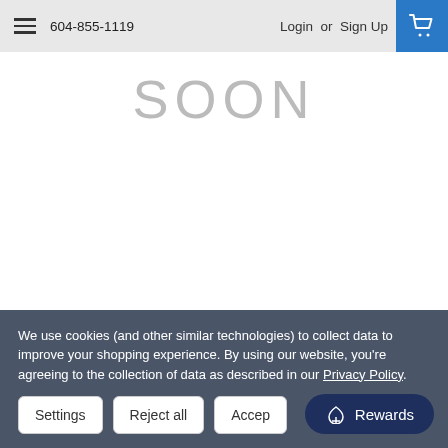604-855-1119  Login or Sign Up
SOON
21661 SPRING- 1600/3600 - NLA
USD $0.00
We use cookies (and other similar technologies) to collect data to improve your shopping experience. By using our website, you're agreeing to the collection of data as described in our Privacy Policy.
Settings  Reject all  Accept
Rewards